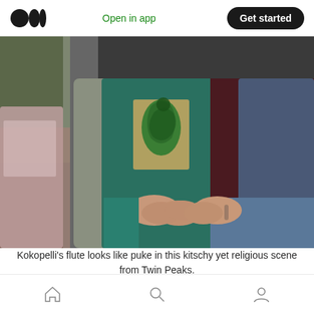Medium logo | Open in app | Get started
[Figure (photo): Two people standing outdoors near a car. One person wears a teal/green t-shirt with a Kokopelli graphic and a gray cardigan, the other wears a dark maroon top and denim jacket with blue jeans. Their hands are intertwined in the foreground.]
Kokopelli's flute looks like puke in this kitschy yet religious scene from Twin Peaks.
Home | Search | Profile navigation icons